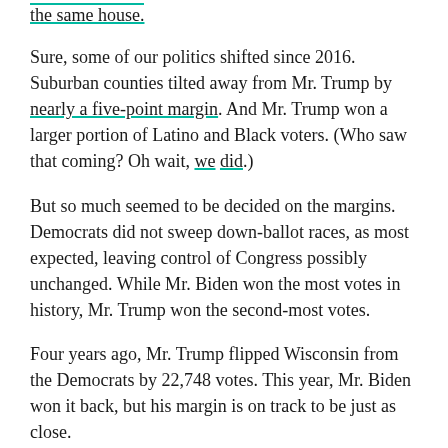the same house.
Sure, some of our politics shifted since 2016. Suburban counties tilted away from Mr. Trump by nearly a five-point margin. And Mr. Trump won a larger portion of Latino and Black voters. (Who saw that coming? Oh wait, we did.)
But so much seemed to be decided on the margins. Democrats did not sweep down-ballot races, as most expected, leaving control of Congress possibly unchanged. While Mr. Biden won the most votes in history, Mr. Trump won the second-most votes.
Four years ago, Mr. Trump flipped Wisconsin from the Democrats by 22,748 votes. This year, Mr. Biden won it back, but his margin is on track to be just as close.
Much has changed since April 2019, when Mr. Biden